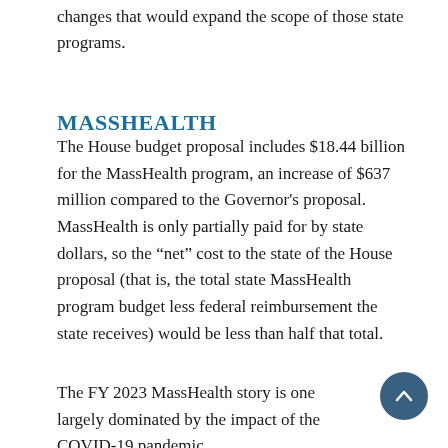changes that would expand the scope of those state programs.
MASSHEALTH
The House budget proposal includes $18.44 billion for the MassHealth program, an increase of $637 million compared to the Governor's proposal. MassHealth is only partially paid for by state dollars, so the “net” cost to the state of the House proposal (that is, the total state MassHealth program budget less federal reimbursement the state receives) would be less than half that total.
The FY 2023 MassHealth story is one largely dominated by the impact of the COVID-19 pandemic